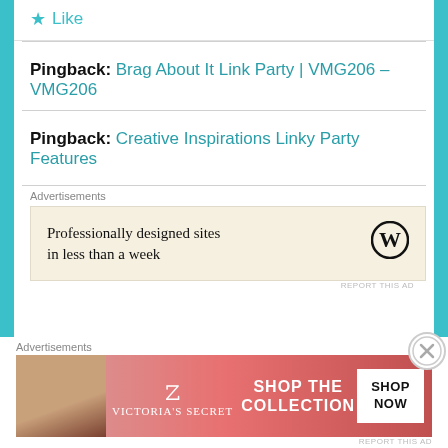★ Like
Pingback: Brag About It Link Party | VMG206 – VMG206
Pingback: Creative Inspirations Linky Party Features
Advertisements
[Figure (other): WordPress advertisement banner: 'Professionally designed sites in less than a week' with WordPress logo]
REPORT THIS AD
Advertisements
[Figure (other): Victoria's Secret advertisement: 'SHOP THE COLLECTION' with 'SHOP NOW' button and VS logo, pink background with model photo]